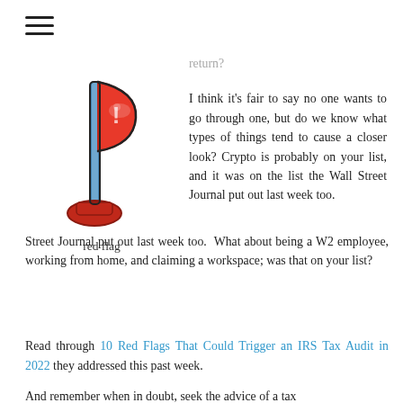[Figure (illustration): Red flag icon illustration — a waving red flag on a blue pole with a red base]
red flag
return?
I think it's fair to say no one wants to go through one, but do we know what types of things tend to cause a closer look? Crypto is probably on your list, and it was on the list the Wall Street Journal put out last week too. What about being a W2 employee, working from home, and claiming a workspace; was that on your list?
Read through 10 Red Flags That Could Trigger an IRS Tax Audit in 2022 they addressed this past week.
And remember when in doubt, seek the advice of a tax